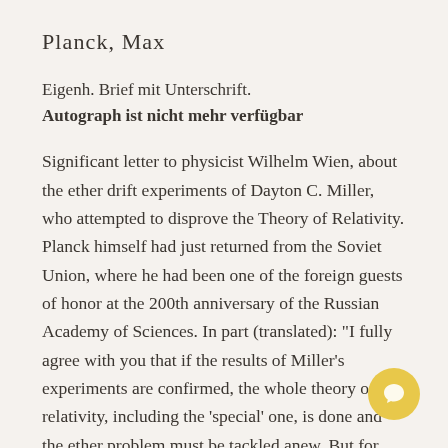Planck, Max
Eigenh. Brief mit Unterschrift.
Autograph ist nicht mehr verfügbar
Significant letter to physicist Wilhelm Wien, about the ether drift experiments of Dayton C. Miller, who attempted to disprove the Theory of Relativity. Planck himself had just returned from the Soviet Union, where he had been one of the foreign guests of honor at the 200th anniversary of the Russian Academy of Sciences. In part (translated): "I fully agree with you that if the results of Miller's experiments are confirmed, the whole theory of relativity, including the 'special' one, is done and the ether problem must be tackled anew. But for that very reason I am fa… this matter with the utmost skepticism. To be sur… after all, nothing is impossible in this enigmatic